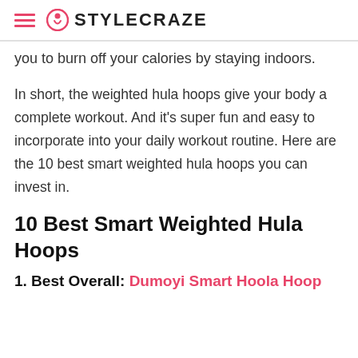STYLECRAZE
you to burn off your calories by staying indoors.
In short, the weighted hula hoops give your body a complete workout. And it's super fun and easy to incorporate into your daily workout routine. Here are the 10 best smart weighted hula hoops you can invest in.
10 Best Smart Weighted Hula Hoops
1. Best Overall: Dumoyi Smart Hoola Hoop